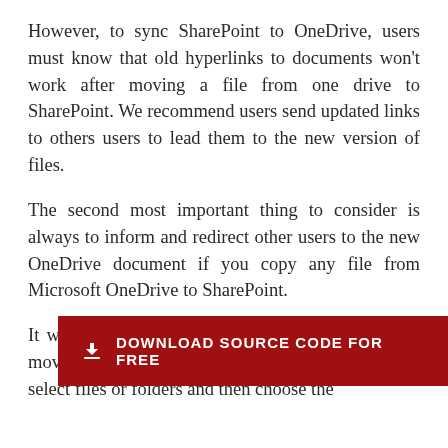However, to sync SharePoint to OneDrive, users must know that old hyperlinks to documents won't work after moving a file from one drive to SharePoint. We recommend users send updated links to others users to lead them to the new version of files.
The second most important thing to consider is always to inform and redirect other users to the new OneDrive document if you copy any file from Microsoft OneDrive to SharePoint.
[Figure (other): Red download banner with text: DOWNLOAD SOURCE CODE FOR FREE]
It will ensure other users access and make edits in move SharePoint in simple steps; firstly, they can select files or folders and then choose the